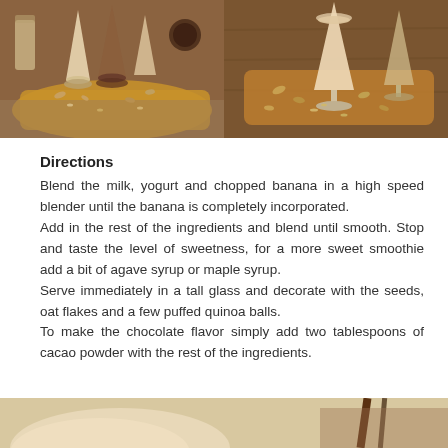[Figure (photo): Two smoothie drinks in tall glasses on a wooden board with almonds and oats, split into two side-by-side photos. Left photo shows multiple drinks including chocolate flavor; right photo is a closer view of the same setup.]
Directions
Blend the milk, yogurt and chopped banana in a high speed blender until the banana is completely incorporated.
Add in the rest of the ingredients and blend until smooth. Stop and taste the level of sweetness, for a more sweet smoothie add a bit of agave syrup or maple syrup.
Serve immediately in a tall glass and decorate with the seeds, oat flakes and a few puffed quinoa balls.
To make the chocolate flavor simply add two tablespoons of cacao powder with the rest of the ingredients.
[Figure (photo): Partial view of a smoothie drink with a dark stirrer/straw, cropped at the bottom of the page.]